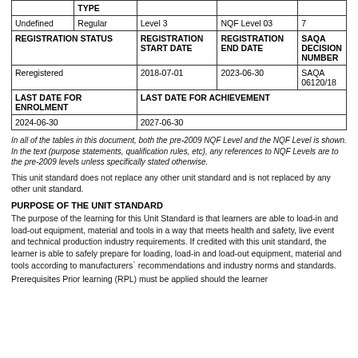|  | TYPE |  |  |  |
| --- | --- | --- | --- | --- |
| Undefined | Regular | Level 3 | NQF Level 03 | 7 |
| REGISTRATION STATUS | REGISTRATION START DATE | REGISTRATION END DATE | SAQA DECISION NUMBER |  |
| Reregistered | 2018-07-01 | 2023-06-30 | SAQA 06120/18 |  |
| LAST DATE FOR ENROLMENT | LAST DATE FOR ACHIEVEMENT |  |  |  |
| 2024-06-30 | 2027-06-30 |  |  |  |
In all of the tables in this document, both the pre-2009 NQF Level and the NQF Level is shown. In the text (purpose statements, qualification rules, etc), any references to NQF Levels are to the pre-2009 levels unless specifically stated otherwise.
This unit standard does not replace any other unit standard and is not replaced by any other unit standard.
PURPOSE OF THE UNIT STANDARD
The purpose of the learning for this Unit Standard is that learners are able to load-in and load-out equipment, material and tools in a way that meets health and safety, live event and technical production industry requirements. If credited with this unit standard, the learner is able to safely prepare for loading, load-in and load-out equipment, material and tools according to manufacturers` recommendations and industry norms and standards.
Prerequisites Prior learning (RPL) must be applied should the learner